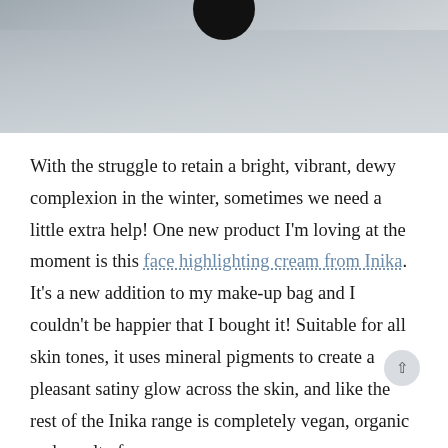[Figure (photo): Close-up photo showing a blurred face/skin background in grey tones with a dark rounded object at top]
With the struggle to retain a bright, vibrant, dewy complexion in the winter, sometimes we need a little extra help! One new product I'm loving at the moment is this face highlighting cream from Inika. It's a new addition to my make-up bag and I couldn't be happier that I bought it! Suitable for all skin tones, it uses mineral pigments to create a pleasant satiny glow across the skin, and like the rest of the Inika range is completely vegan, organic and cruelty free.
A good highlighter should be able to...